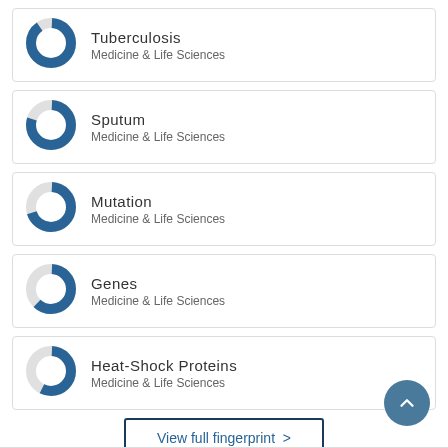Tuberculosis — Medicine & Life Sciences
Sputum — Medicine & Life Sciences
Mutation — Medicine & Life Sciences
Genes — Medicine & Life Sciences
Heat-Shock Proteins — Medicine & Life Sciences
View full fingerprint >